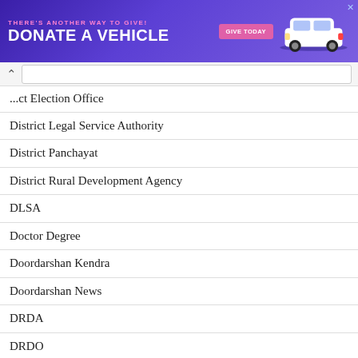[Figure (infographic): Advertisement banner with purple background showing 'THERE'S ANOTHER WAY TO GIVE! DONATE A VEHICLE' with a pink GIVE TODAY button and a white SUV car illustration]
District Election Office
District Legal Service Authority
District Panchayat
District Rural Development Agency
DLSA
Doctor Degree
Doordarshan Kendra
Doordarshan News
DRDA
DRDO
Driver
DSSSB